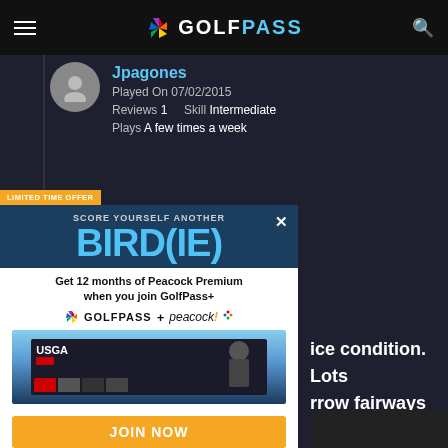GOLFPASS
Jpagones
Played On 07/02/2015
Reviews 1   Skill Intermediate
Plays A few times a week
[Figure (screenshot): GolfPass promotional modal ad: 'SCORE YOURSELF ANOTHER BIRD(IE)' - Get 12 months of Peacock Premium when you join GolfPass+. Shows GolfPass + Peacock logos, TV screenshot, and JOIN NOW button.]
ice condition. Lots
arrow fairways and